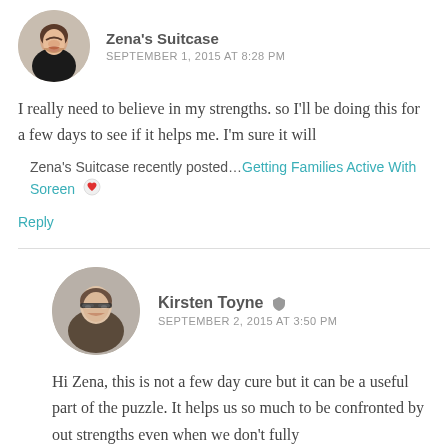[Figure (photo): Circular avatar photo of Zena, a woman smiling, cropped at top of image]
Zena's Suitcase
SEPTEMBER 1, 2015 AT 8:28 PM
I really need to believe in my strengths. so I'll be doing this for a few days to see if it helps me. I'm sure it will
Zena's Suitcase recently posted…Getting Families Active With Soreen ❤
Reply
[Figure (photo): Circular avatar photo of Kirsten Toyne, a woman wearing glasses]
Kirsten Toyne
SEPTEMBER 2, 2015 AT 3:50 PM
Hi Zena, this is not a few day cure but it can be a useful part of the puzzle. It helps us so much to be confronted by out strengths even when we don't fully